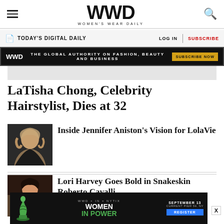WWD — WOMEN'S WEAR DAILY
TODAY'S DIGITAL DAILY    LOG IN  |  SUBSCRIBE
[Figure (infographic): WWD banner ad: THE GLOBAL AUTHORITY ON FASHION, BEAUTY AND BUSINESS — SUBSCRIBE NOW button]
LaTisha Chong, Celebrity Hairstylist, Dies at 32
[Figure (photo): Photo of Jennifer Aniston posing with hands in hair, dark background]
Inside Jennifer Aniston's Vision for LolaVie
[Figure (photo): Photo of Lori Harvey]
Lori Harvey Goes Bold in Snakeskin Roberto Cavalli
[Figure (infographic): Bottom ad: WWD x IN x NYTIX — WOMEN IN POWER — SEPTEMBER 13 CURRENT PIER 59, NY — REGISTER button]